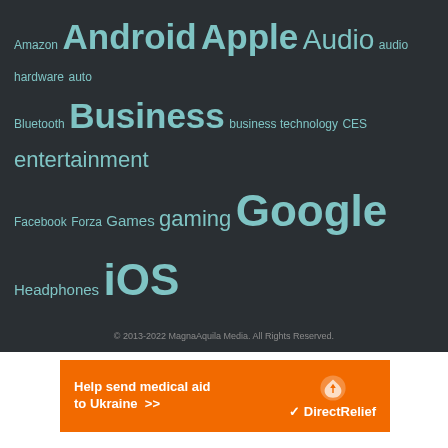[Figure (infographic): Tag cloud on dark background with various technology-related tags in different sizes: Amazon, Android, Apple, Audio, audio hardware, auto, Bluetooth, Business, business technology, CES, entertainment, Facebook, Forza, Games, gaming, Google, Headphones, iOS, iphone, Kickstarter, Laptop, Lenovo, Marvel, Microsoft, Mobile, movies, music, Netflix, Netflix Canada, Playstation 4, Privacy, Razer, Review, Reviews, Samsung, Security, Smartphone, Sony, Star Wars, tech, technology, TV, Windows 10, Xbox, Xbox One]
© 2013-2022 MagnaAquila Media. All Rights Reserved.
[Figure (infographic): Orange advertisement banner for Direct Relief: 'Help send medical aid to Ukraine >>' with DirectRelief logo on right]